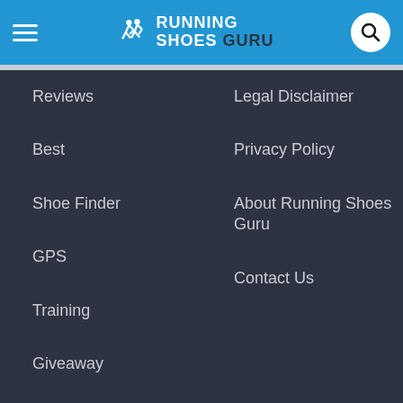[Figure (logo): Running Shoes Guru logo with hamburger menu and search icon in blue header bar]
Reviews
Best
Shoe Finder
GPS
Training
Giveaway
Awards
Legal Disclaimer
Privacy Policy
About Running Shoes Guru
Contact Us